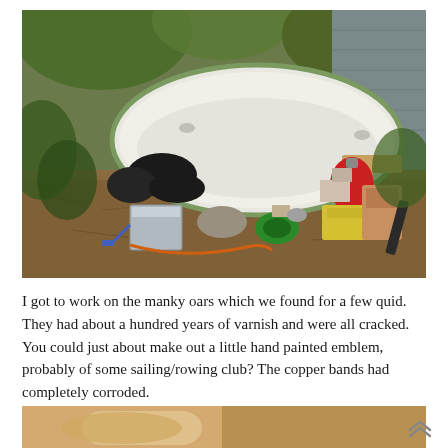[Figure (photo): Outdoor scene showing a small white/green boat hull resting on the ground among trees and foliage, near a grey shed wall. Various items are scattered around including a red vacuum cleaner, metal containers, bags, boxes, tools, and garden items on a bark/mulch covered ground.]
I got to work on the manky oars which we found for a few quid. They had about a hundred years of varnish and were all cracked. You could just about make out a little hand painted emblem, probably of some sailing/rowing club? The copper bands had completely corroded.
[Figure (photo): Partial photo at the bottom of the page, showing what appears to be some food or materials on a surface, cropped.]